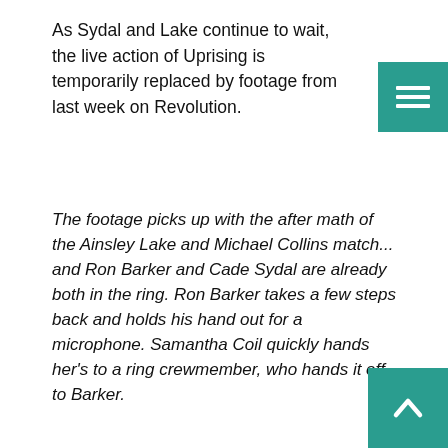As Sydal and Lake continue to wait, the live action of Uprising is temporarily replaced by footage from last week on Revolution.
The footage picks up with the after math of the Ainsley Lake and Michael Collins match... and Ron Barker and Cade Sydal are already both in the ring. Ron Barker takes a few steps back and holds his hand out for a microphone. Samantha Coil quickly hands her's to a ring crewmember, who hands it off to Barker.
Ron Barker: Sydal, we're not dealing drugs out here, so this doesn't concern your pasty ass. Get on to the back, now. I've got business with Ainsley, and that's it.
Cade smirks at Barker, and snaps his fingers, holding hand out to the side. Another microphone is quickly